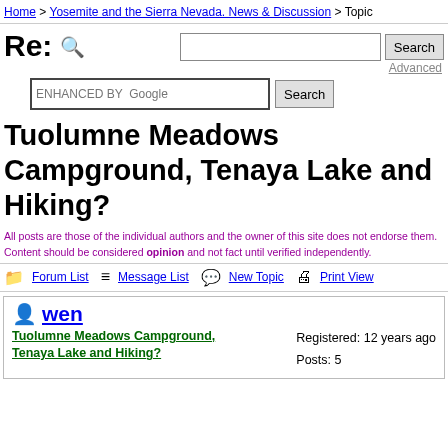Home > Yosemite and the Sierra Nevada. News & Discussion > Topic
Re:
Search  Advanced
enhanced by Google  Search
Tuolumne Meadows Campground, Tenaya Lake and Hiking?
All posts are those of the individual authors and the owner of this site does not endorse them. Content should be considered opinion and not fact until verified independently.
Forum List  Message List  New Topic  Print View
wen
Tuolumne Meadows Campground, Tenaya Lake and Hiking?
Registered: 12 years ago
Posts: 5